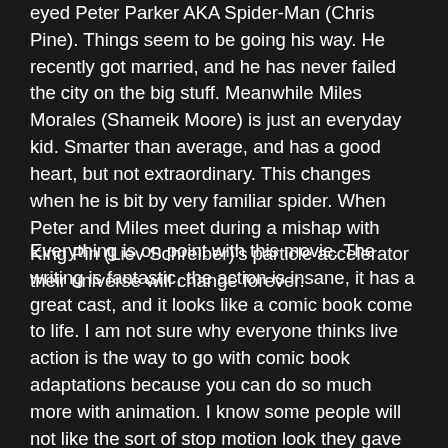eyed Peter Parker AKA Spider-Man (Chris Pine). Things seem to be going his way. He recently got married, and he has never failed the city on the big stuff. Meanwhile Miles Morales (Shameik Moore) is just an everyday kid. Smarter than average, and has a good heart, but not extraordinary. This changes when he is bit by very familiar spider. When Peter and Miles meet during a mishap with King Pin (Liev Schreiber)'s particle accelerator their universe will change forever.
Everything is on point with this movie. The writing is fantastic, the action is insane, it has a great cast, and it looks like a comic book come to life. I am not sure why everyone thinks live action is the way to go with comic book adaptations because you can do so much more with animation. I know some people will not like the sort of stop motion look they gave this film to kind of mimic the changing panels of a comic book, but it grows on you,